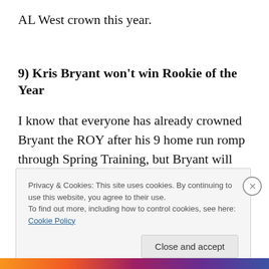AL West crown this year.
9) Kris Bryant won't win Rookie of the Year
I know that everyone has already crowned Bryant the ROY after his 9 home run romp through Spring Training, but Bryant will have issues this year and will not win the award. First off, he will be getting a late start. It isn't his
Privacy & Cookies: This site uses cookies. By continuing to use this website, you agree to their use.
To find out more, including how to control cookies, see here: Cookie Policy
Close and accept